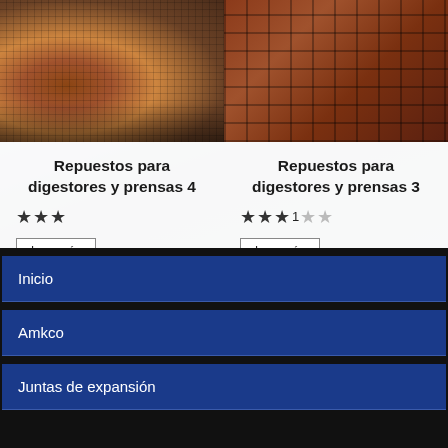[Figure (photo): Close-up photo of perforated metal plate with rust/corrosion markings, industrial component]
[Figure (photo): Close-up photo of metal grid cage structure with brownish/rust coloring, industrial component]
Repuestos para digestores y prensas 4
★★★
Leer más
Repuestos para digestores y prensas 3
★★★1
Leer más
Inicio
Amkco
Juntas de expansión